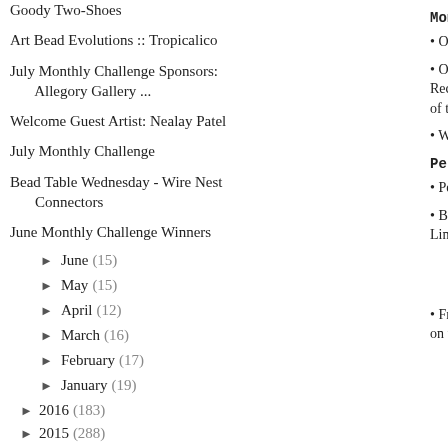Goody Two-Shoes
Art Bead Evolutions :: Tropicalico
July Monthly Challenge Sponsors:
    Allegory Gallery ...
Welcome Guest Artist: Nealay Patel
July Monthly Challenge
Bead Table Wednesday - Wire Nest Connectors
June Monthly Challenge Winners
June (15)
May (15)
April (12)
March (16)
February (17)
January (19)
2016 (183)
2015 (288)
Monthly Ch...
• One prize...
• One prize... Recap pos... of the post...
• Winners w...
Perfect Pa...
• Perfect P...
• Be sure to... Links to the...
• From all t... on the ABS...